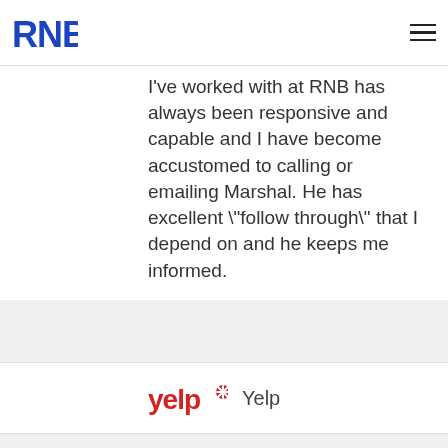RNB [logo] [hamburger menu]
I've worked with at RNB has always been responsive and capable and I have become accustomed to calling or emailing Marshal. He has excellent \"follow through\" that I depend on and he keeps me informed.
[Figure (logo): Yelp logo with red burst icon and the word 'Yelp' in dark text]